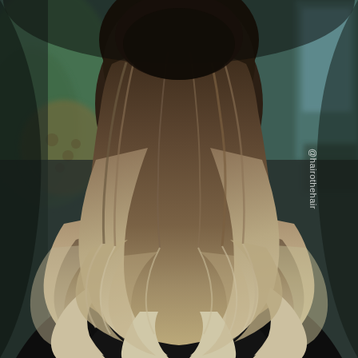[Figure (photo): Back view of a person with long, curly hair styled in an ombre/balayage technique transitioning from dark brown roots to lighter ash blonde/sandy tips. The hair has large, voluminous curls. The person is wearing a black top. Background shows a blurred indoor/outdoor setting with green foliage visible. A watermark '@hairothehair' is visible on the right side.]